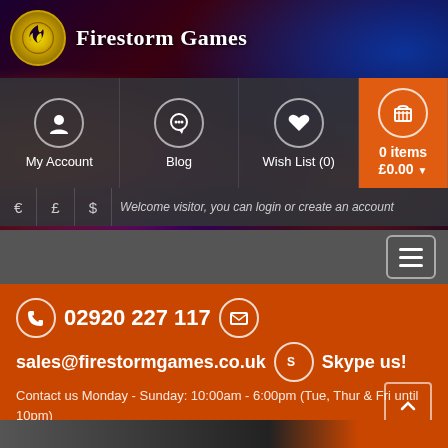[Figure (screenshot): Firestorm Games website header with logo, navigation icons (My Account, Blog, Wish List, Cart), currency selector, and footer contact info]
Firestorm Games
My Account
Blog
Wish List (0)
0 items £0.00
€ £ $
Welcome visitor, you can login or create an account
02920 227 117
sales@firestormgames.co.uk  Skype us!
Contact us Monday - Sunday: 10:00am - 6:00pm (Tue, Thur & Fri until 10pm)